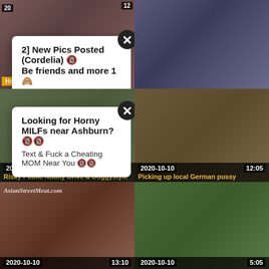[Figure (screenshot): Video thumbnail top-left with popup notification overlay. Popup text: '2] New Pics Posted (Cordelia) 🔞 Be friends and more 1🙈']
[Figure (screenshot): Video thumbnail top-right]
[Figure (screenshot): Video thumbnail mid-left with popup: 'Looking for Horny MILFs near Ashburn? 🔞🔞 Text & Fuck a Cheating MOM Near You 🔞🔞']
[Figure (screenshot): Video thumbnail mid-right]
2020-10-10  15:02
Risky Public Nudity Drive & Doggystyle
2020-10-10  12:05
Picking up local German pussy
[Figure (screenshot): Video thumbnail bottom-left with AsianStreetMeat.com watermark]
2020-10-10  13:10
[Figure (screenshot): Video thumbnail bottom-right]
2020-10-10  5:05